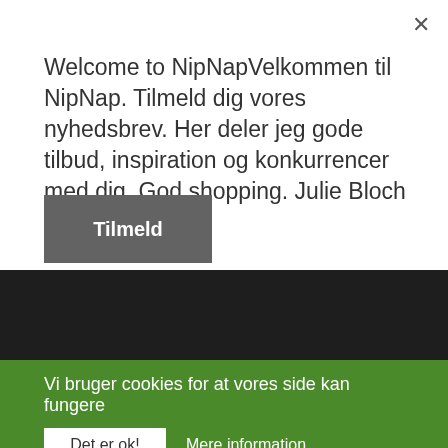Welcome to NipNapVelkommen til NipNap. Tilmeld dig vores nyhedsbrev. Her deler jeg gode tilbud, inspiration og konkurrencer med dig. God shopping. Julie Bloch
×
Tilmeld
[Figure (other): Dark background area, part of website screenshot]
Vi bruger cookies for at vores side kan fungere
Det er ok!
Mere information